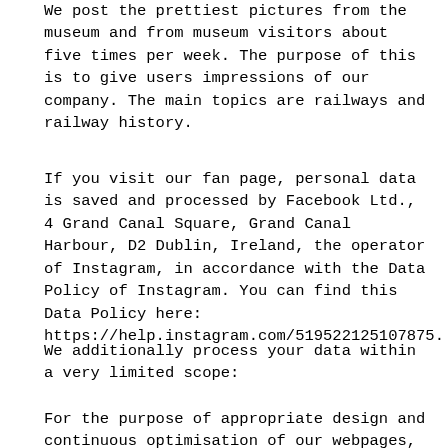We post the prettiest pictures from the museum and from museum visitors about five times per week. The purpose of this is to give users impressions of our company. The main topics are railways and railway history.
If you visit our fan page, personal data is saved and processed by Facebook Ltd., 4 Grand Canal Square, Grand Canal Harbour, D2 Dublin, Ireland, the operator of Instagram, in accordance with the Data Policy of Instagram. You can find this Data Policy here: https://help.instagram.com/519522125107875.
We additionally process your data within a very limited scope:
For the purpose of appropriate design and continuous optimisation of our webpages, we utilise Instagram